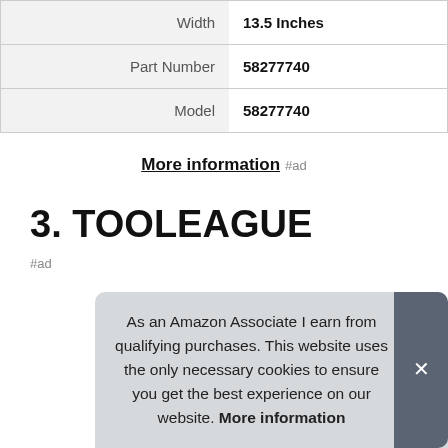| Width | 13.5 Inches |
| Part Number | 58277740 |
| Model | 58277740 |
More information #ad
3. TOOLEAGUE
#ad
As an Amazon Associate I earn from qualifying purchases. This website uses the only necessary cookies to ensure you get the best experience on our website. More information